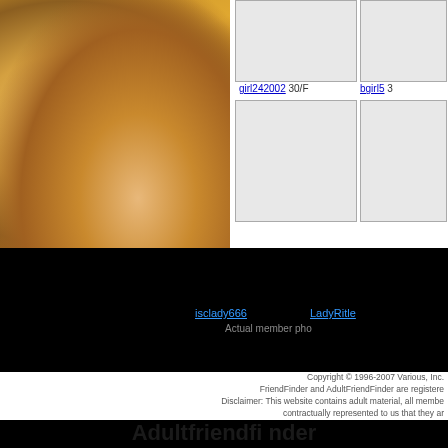[Figure (photo): Blurred photo of a person with golden/yellow decorative elements in background]
[Figure (photo): Empty thumbnail placeholder box for girl242002, 30/F]
girl242002 30/F
[Figure (photo): Empty thumbnail placeholder box for bgirl5]
bgirl5 3
[Figure (photo): Empty thumbnail placeholder box]
[Figure (photo): Empty thumbnail placeholder box]
isclady666
LadyRitle
Actual member pho
Copyright © 1996-2007 Various, Inc. FriendFinder and AdultFriendFinder are registere Disclaimer: This website contains adult material, all membe contractually represented to us that they ar
Adultfriendfi nder